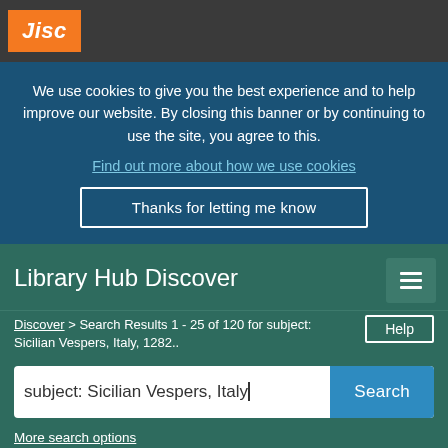[Figure (logo): Jisc logo in orange square on dark grey top bar]
We use cookies to give you the best experience and to help improve our website. By closing this banner or by continuing to use the site, you agree to this.
Find out more about how we use cookies
Thanks for letting me know
Library Hub Discover
Discover > Search Results 1 - 25 of 120 for subject: Sicilian Vespers, Italy, 1282..
subject: Sicilian Vespers, Italy
More search options